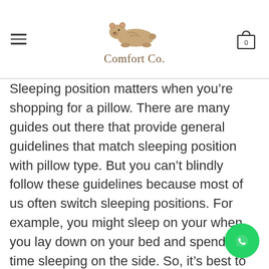Comfort Co.
Sleeping position matters when you’re shopping for a pillow. There are many guides out there that provide general guidelines that match sleeping position with pillow type. But you can’t blindly follow these guidelines because most of us often switch sleeping positions. For example, you might sleep on your when you lay down on your bed and spend so time sleeping on the side. So, it’s best to choose a